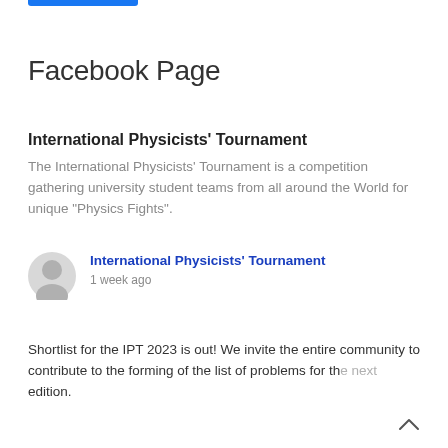Facebook Page
International Physicists' Tournament
The International Physicists' Tournament is a competition gathering university student teams from all around the World for unique "Physics Fights".
International Physicists' Tournament
1 week ago
Shortlist for the IPT 2023 is out! We invite the entire community to contribute to the forming of the list of problems for the next edition.